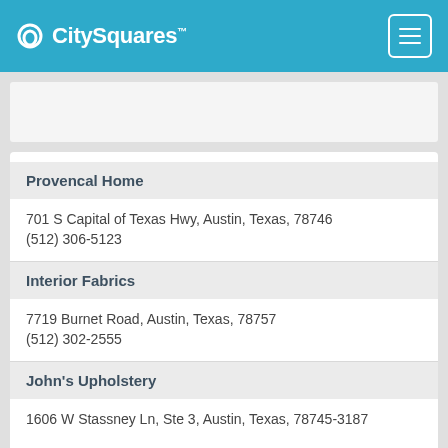CitySquares
Provencal Home
701 S Capital of Texas Hwy, Austin, Texas, 78746
(512) 306-5123
Interior Fabrics
7719 Burnet Road, Austin, Texas, 78757
(512) 302-2555
John's Upholstery
1606 W Stassney Ln, Ste 3, Austin, Texas, 78745-3187